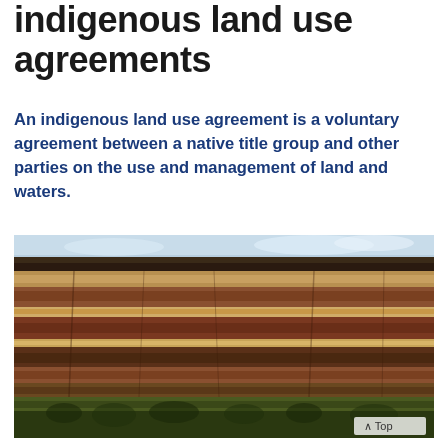indigenous land use agreements
An indigenous land use agreement is a voluntary agreement between a native title group and other parties on the use and management of land and waters.
[Figure (photo): Landscape photograph of a large sandstone escarpment with layered cliff faces, sparse vegetation on the cliff face, and dense green bush/forest in the foreground, with a partly cloudy sky above.]